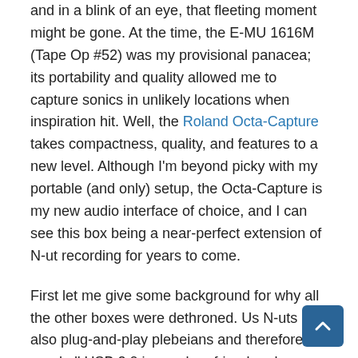and in a blink of an eye, that fleeting moment might be gone. At the time, the E-MU 1616M (Tape Op #52) was my provisional panacea; its portability and quality allowed me to capture sonics in unlikely locations when inspiration hit. Well, the Roland Octa-Capture takes compactness, quality, and features to a new level. Although I'm beyond picky with my portable (and only) setup, the Octa-Capture is my new audio interface of choice, and I can see this box being a near-perfect extension of N-ut recording for years to come.
First let me give some background for why all the other boxes were dethroned. Us N-uts are also plug-and-play plebeians and therefore good ol' USB 2.0 is our dear friend and security blanket. Setup time, baroque driver installs, esoteric Mac versus PC FireWire dilemmas, and outdated PCMCIA cards are all our enemies because we just need a system that supports the inspired moment — so we can get down and